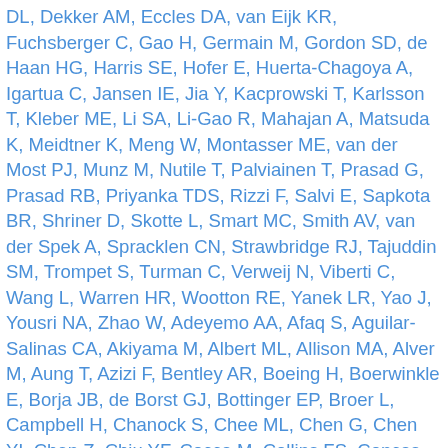DL, Dekker AM, Eccles DA, van Eijk KR, Fuchsberger C, Gao H, Germain M, Gordon SD, de Haan HG, Harris SE, Hofer E, Huerta-Chagoya A, Igartua C, Jansen IE, Jia Y, Kacprowski T, Karlsson T, Kleber ME, Li SA, Li-Gao R, Mahajan A, Matsuda K, Meidtner K, Meng W, Montasser ME, van der Most PJ, Munz M, Nutile T, Palviainen T, Prasad G, Prasad RB, Priyanka TDS, Rizzi F, Salvi E, Sapkota BR, Shriner D, Skotte L, Smart MC, Smith AV, van der Spek A, Spracklen CN, Strawbridge RJ, Tajuddin SM, Trompet S, Turman C, Verweij N, Viberti C, Wang L, Warren HR, Wootton RE, Yanek LR, Yao J, Yousri NA, Zhao W, Adeyemo AA, Afaq S, Aguilar-Salinas CA, Akiyama M, Albert ML, Allison MA, Alver M, Aung T, Azizi F, Bentley AR, Boeing H, Boerwinkle E, Borja JB, de Borst GJ, Bottinger EP, Broer L, Campbell H, Chanock S, Chee ML, Chen G, Chen YI, Chen Z, Chiu YF, Cocca M, Collins FS, Concas MP, Corley J, Cugliari G, van Dam RM, Damulina A, Daneshpour MS, Day FR, Delgado GE, Dhana K, Doney ASF, Dörr M, Doumatey AP, Dzimiri N, Ebenesersdóttir SS, Elliott J, Elliott P, Ewert R, Felix JF, Fischer K, Freedman BI, Girotto G, Goel A, Gögele M, Goodarzi MO, Graff M, Gorntham-Harris F, Gudnason V